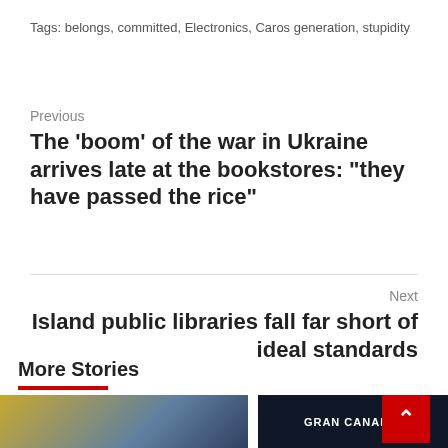Tags: belongs, committed, Electronics, Caros generation, stupidity
Previous
The 'boom' of the war in Ukraine arrives late at the bookstores: "they have passed the rice"
Next
Island public libraries fall far short of ideal standards
More Stories
[Figure (photo): Left image showing books on shelves with blue and yellow tones]
[Figure (photo): Right dark image with text GRAN CANARIA in white letters on stage]